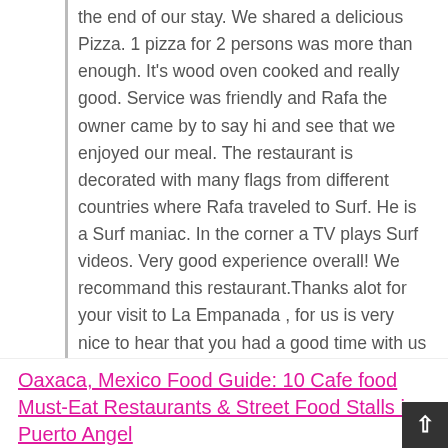the end of our stay. We shared a delicious Pizza. 1 pizza for 2 persons was more than enough. It's wood oven cooked and really good. Service was friendly and Rafa the owner came by to say hi and see that we enjoyed our meal. The restaurant is decorated with many flags from different countries where Rafa traveled to Surf. He is a Surf maniac. In the corner a TV plays Surf videos. Very good experience overall! We recommand this restaurant.Thanks alot for your visit to La Empanada , for us is very nice to hear that you had a good time with us and that you enjoyed what the Pacific ocean can offer , waves, sunsets, good friends Hope to see you back soon in mermejita beach .Cheers
Oaxaca, Mexico Food Guide: 10 Cafe food Must-Eat Restaurants & Street Food Stalls in Puerto Angel